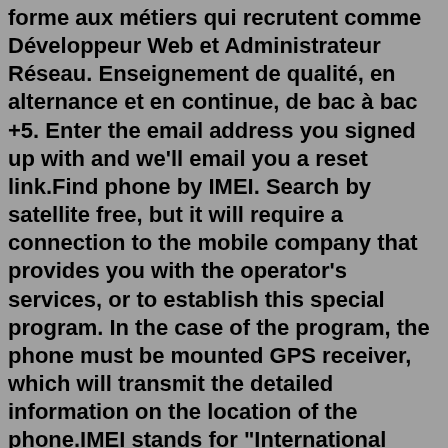forme aux métiers qui recrutent comme Développeur Web et Administrateur Réseau. Enseignement de qualité, en alternance et en continue, de bac à bac +5. Enter the email address you signed up with and we'll email you a reset link.Find phone by IMEI. Search by satellite free, but it will require a connection to the mobile company that provides you with the operator's services, or to establish this special program. In the case of the program, the phone must be mounted GPS receiver, which will transmit the detailed information on the location of the phone.IMEI stands for "International Mobile Equipment Identity.". It's a unique number for identifying a device on a mobile network. You can think of it as your phone's social security number ...imię - translate into English with the Polish-English Dictionary - Cambridge Dictionary The Imie family name was found in the USA in 1920. In 1920 there was 1 Imie family living in Pennsylvania. This was 100% of all the recorded Imie's in USA. Pennsylvania had the highest